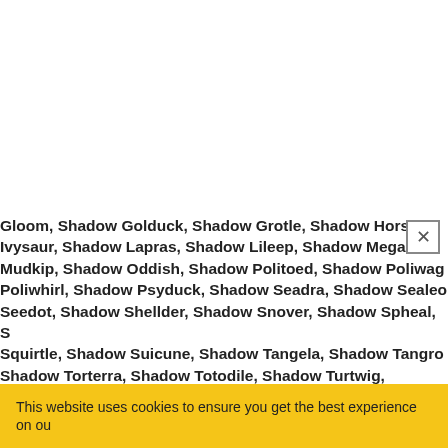Gloom, Shadow Golduck, Shadow Grotle, Shadow Horsea, Shadow Ivysaur, Shadow Lapras, Shadow Lileep, Shadow Megan, Shadow Mudkip, Shadow Oddish, Shadow Politoed, Shadow Poliwag, Shadow Poliwhirl, Shadow Psyduck, Shadow Seadra, Shadow Sealeo, Shadow Seedot, Shadow Shellder, Shadow Snover, Shadow Spheal, Shadow Squirtle, Shadow Suicune, Shadow Tangela, Shadow Tangrowth, Shadow Torterra, Shadow Totodile, Shadow Turtwig, Shadow Victreebel, Shadow Vileplume, Shadow Walrein, Shadow Wartortle, Shadow Weepinbell are best Shadow counters to Flygon.
FLYGON MOVES SET
Flygon will use below moves during the battle.
This website uses cookies to ensure you get the best experience on ou